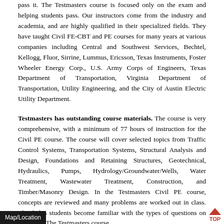pass it. The Testmasters course is focused only on the exam and helping students pass. Our instructors come from the industry and academia, and are highly qualified in their specialized fields. They have taught Civil FE-CBT and PE courses for many years at various companies including Central and Southwest Services, Bechtel, Kellogg, Fluor, Sirrine, Lummus, Ericsson, Texas Instruments, Foster Wheeler Energy Corp., U.S. Army Corps of Engineers, Texas Department of Transportation, Virginia Department of Transportation, Utility Engineering, and the City of Austin Electric Utility Department.
Testmasters has outstanding course materials. The course is very comprehensive, with a minimum of 77 hours of instruction for the Civil PE course. The course will cover selected topics from Traffic Control Systems, Transportation Systems, Structural Analysis and Design, Foundations and Retaining Structures, Geotechnical, Hydraulics, Pumps, Hydrology/Groundwater/Wells, Water Treatment, Wastewater Treatment, Construction, and Timber/Masonry Design. In the Testmasters Civil PE course, concepts are reviewed and many problems are worked out in class. This helps students become familiar with the types of questions on the exam. The Testmasters course